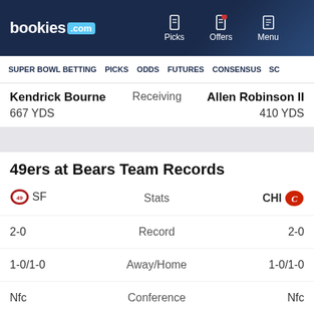bookies.com | Picks | Offers | Menu
SUPER BOWL BETTING | PICKS | ODDS | FUTURES | CONSENSUS | SC
Kendrick Bourne | Receiving | Allen Robinson II
667 YDS | 410 YDS
49ers at Bears Team Records
| SF | Stats | CHI |
| --- | --- | --- |
| SF | Stats | CHI |
| 2-0 | Record | 2-0 |
| 1-0/1-0 | Away/Home | 1-0/1-0 |
| Nfc | Conference | Nfc |